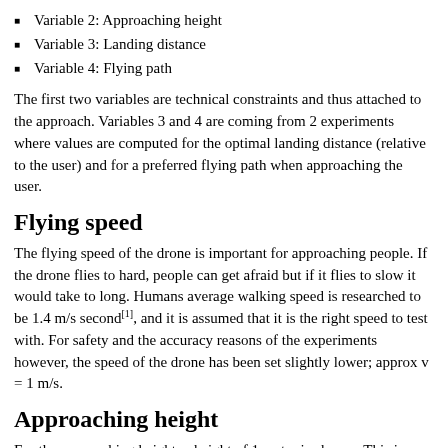Variable 2: Approaching height
Variable 3: Landing distance
Variable 4: Flying path
The first two variables are technical constraints and thus attached to the approach. Variables 3 and 4 are coming from 2 experiments where values are computed for the optimal landing distance (relative to the user) and for a preferred flying path when approaching the user.
Flying speed
The flying speed of the drone is important for approaching people. If the drone flies to hard, people can get afraid but if it flies to slow it would take to long. Humans average walking speed is researched to be 1.4 m/s second[1], and it is assumed that it is the right speed to test with. For safety and the accuracy reasons of the experiments however, the speed of the drone has been set slightly lower; approx v = 1 m/s.
Approaching height
For the approaching height, a height of 1 meter is chosen. This is